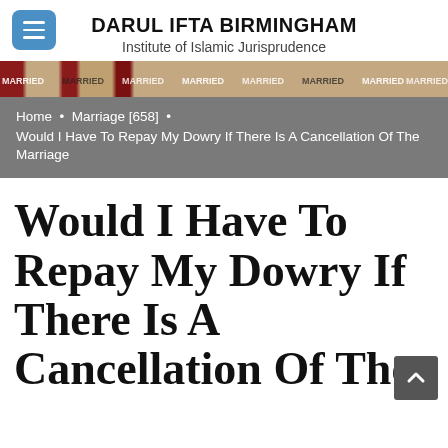DARUL IFTA BIRMINGHAM
Institute of Islamic Jurisprudence
[Figure (photo): Decorative banner image with repeating marriage-related text pattern in red and beige tones]
Home • Marriage [658] • Would I Have To Repay My Dowry If There Is A Cancellation Of The Marriage
Would I Have To Repay My Dowry If There Is A Cancellation Of The Marriage